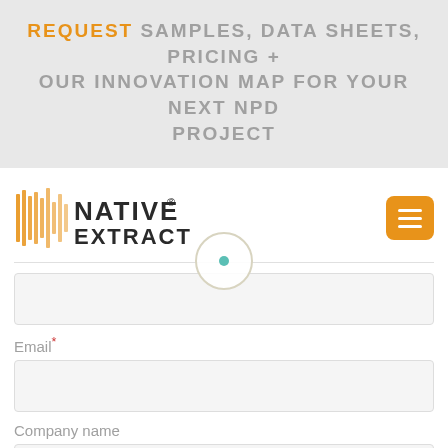REQUEST SAMPLES, DATA SHEETS, PRICING + OUR INNOVATION MAP FOR YOUR NEXT NPD PROJECT
[Figure (logo): Native Extracts logo with stylized bamboo-like vertical lines and text 'NATIVE EXTRACTS' with registered trademark symbol]
Email*
Company name